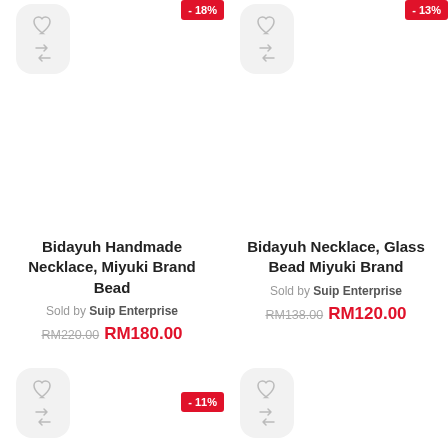[Figure (other): Product card with -18% badge, heart icon, and arrows icon for Bidayuh Handmade Necklace]
[Figure (other): Product card with -13% badge, heart icon, and arrows icon for Bidayuh Necklace Glass Bead]
Bidayuh Handmade Necklace, Miyuki Brand Bead
Sold by Suip Enterprise
RM220.00 RM180.00
Bidayuh Necklace, Glass Bead Miyuki Brand
Sold by Suip Enterprise
RM138.00 RM120.00
[Figure (other): Bottom product card with -11% badge and heart icon]